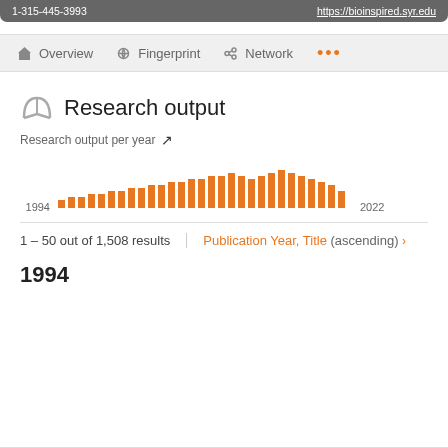1-315-445-3993   https://bioinspired.syr.edu
Overview   Fingerprint   Network   ...
Research output
[Figure (bar-chart): Research output per year]
1 – 50 out of 1,508 results
Publication Year, Title (ascending)
1994